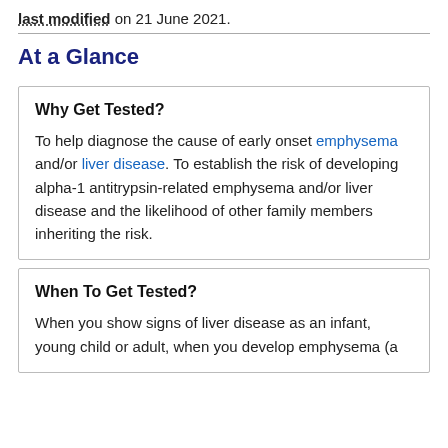last modified on 21 June 2021.
At a Glance
Why Get Tested?
To help diagnose the cause of early onset emphysema and/or liver disease. To establish the risk of developing alpha-1 antitrypsin-related emphysema and/or liver disease and the likelihood of other family members inheriting the risk.
When To Get Tested?
When you show signs of liver disease as an infant, young child or adult, when you develop emphysema (a